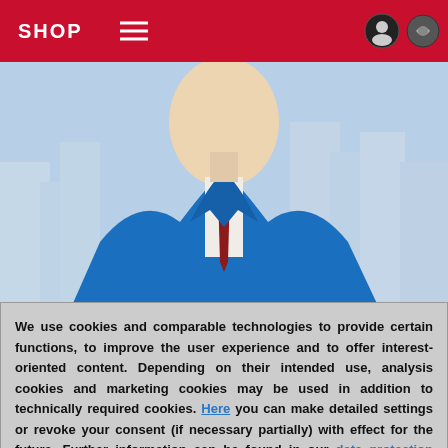SHOP
[Figure (photo): Person wearing blue blazer and dark red tie, city background visible]
Pattern Recognition and Typical Plans
On this DVD GM Adrian Mikhalchishin presents games of the World Champions of the past to
[Figure (logo): FritzTrainer green badge with person photo and text 'Pattern Recognition']
We use cookies and comparable technologies to provide certain functions, to improve the user experience and to offer interest-oriented content. Depending on their intended use, analysis cookies and marketing cookies may be used in addition to technically required cookies. Here you can make detailed settings or revoke your consent (if necessary partially) with effect for the future. Further information can be found in our data protection declaration.